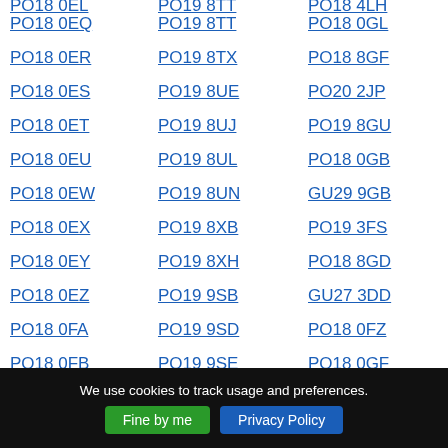PO18 0EQ
PO19 8TT
PO18 0GL
PO18 0ER
PO19 8TX
PO18 8GF
PO18 0ES
PO19 8UE
PO20 2JP
PO18 0ET
PO19 8UJ
PO19 8GU
PO18 0EU
PO19 8UL
PO18 0GB
PO18 0EW
PO19 8UN
GU29 9GB
PO18 0EX
PO19 8XB
PO19 3FS
PO18 0EY
PO19 8XH
PO18 8GD
PO18 0EZ
PO19 9SB
GU27 3DD
PO18 0FA
PO19 9SD
PO18 0FZ
PO18 0FB
PO19 9SE
PO18 0GF
PO18 0FD
PO19 9SF
PO19 6FS
We use cookies to track usage and preferences.
Fine by me
Privacy Policy